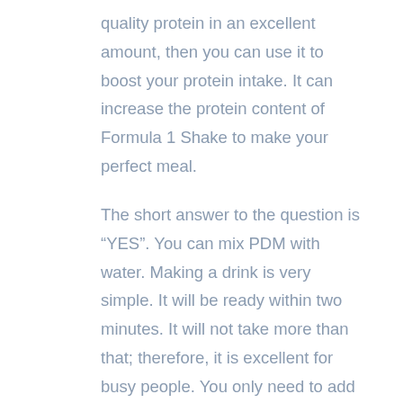quality protein in an excellent amount, then you can use it to boost your protein intake. It can increase the protein content of Formula 1 Shake to make your perfect meal.
The short answer to the question is “YES”. You can mix PDM with water. Making a drink is very simple. It will be ready within two minutes. It will not take more than that; therefore, it is excellent for busy people. You only need to add two scoops of PDM in 8 fl oz of cold water. After stirring, you can enjoy your drink. There are many flavors available. It is a very simple and quick means of getting protein and eliminating hunger. Using PDM